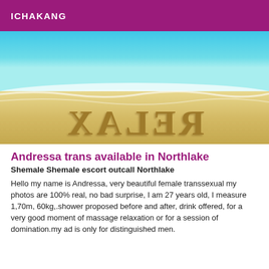ICHAKANG
[Figure (photo): Beach photo with turquoise ocean waves, white foam, and sandy shore with the word RELAX written mirrored/backwards in the sand]
Andressa trans available in Northlake
Shemale Shemale escort outcall Northlake
Hello my name is Andressa, very beautiful female transsexual my photos are 100% real, no bad surprise, I am 27 years old, I measure 1,70m, 60kg,.shower proposed before and after, drink offered, for a very good moment of massage relaxation or for a session of domination.my ad is only for distinguished men.